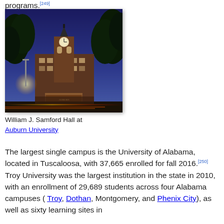programs.[249]
[Figure (photo): Night photograph of William J. Samford Hall at Auburn University, showing the clock tower lit up against a dark blue sky with trees and street lights visible]
William J. Samford Hall at Auburn University
The largest single campus is the University of Alabama, located in Tuscaloosa, with 37,665 enrolled for fall 2016.[250] Troy University was the largest institution in the state in 2010, with an enrollment of 29,689 students across four Alabama campuses ( Troy, Dothan, Montgomery, and Phenix City), as well as sixty learning sites in